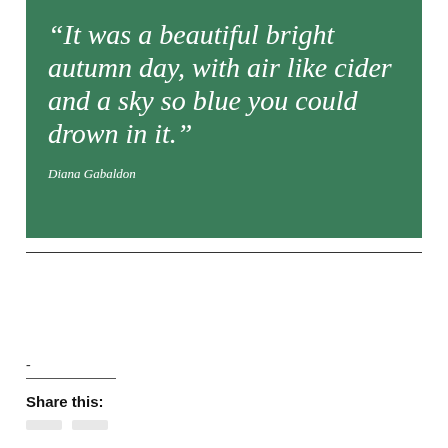[Figure (illustration): Green background quote block with italic white serif text: “It was a beautiful bright autumn day, with air like cider and a sky so blue you could drown in it.” and attribution ‘Diana Gabaldon’ in italic white text below.]
-
Share this: